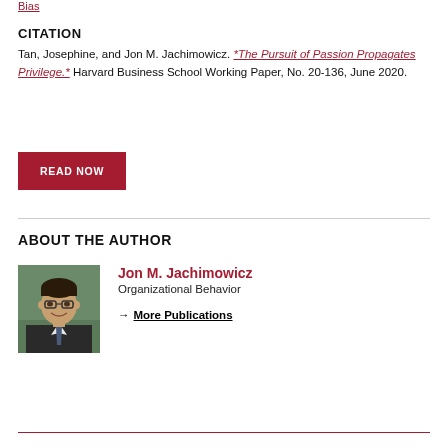Bias
CITATION
Tan, Josephine, and Jon M. Jachimowicz. "The Pursuit of Passion Propagates Privilege." Harvard Business School Working Paper, No. 20-136, June 2020.
READ NOW
ABOUT THE AUTHOR
[Figure (photo): Headshot of Jon M. Jachimowicz, a man with glasses and dark hair wearing a suit]
Jon M. Jachimowicz
Organizational Behavior
→ More Publications